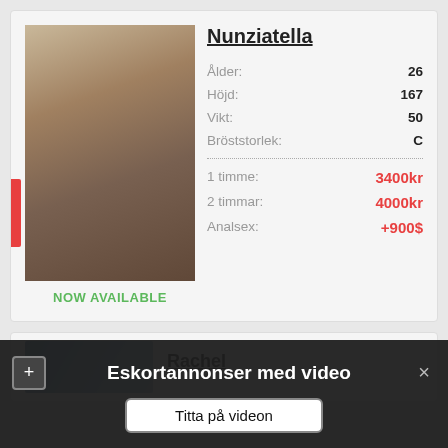[Figure (photo): Profile photo of Nunziatella, a blonde woman in white outfit posing in a room]
NOW AVAILABLE
Nunziatella
| Attribute | Value |
| --- | --- |
| Ålder: | 26 |
| Höjd: | 167 |
| Vikt: | 50 |
| Bröststorlek: | C |
| 1 timme: | 3400kr |
| 2 timmar: | 4000kr |
| Analsex: | +900$ |
[Figure (photo): Partial profile photo of Rachel, outdoor scenic background]
Rachel
Eskortannonser med video
Titta på videon